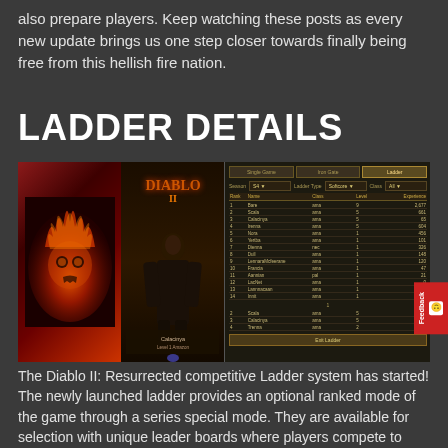also prepare players. Keep watching these posts as every new update brings us one step closer towards finally being free from this hellish fire nation.
LADDER DETAILS
[Figure (screenshot): Composite image showing Diablo II: Resurrected game screenshots — a fire skull on red background, a character portrait labeled Calacinya Level 1 Amazon, the in-game Ladder leaderboard UI showing ranked players with columns for Rank, Name, Class, Level, Experience, and a dark atmospheric character portrait on the right.]
The Diablo II: Resurrected competitive Ladder system has started! The newly launched ladder provides an optional ranked mode of the game through a series special mode. They are available for selection with unique leader boards where players compete to strategically gain experiences.
The game modes are designed to be fun and challenging, with the